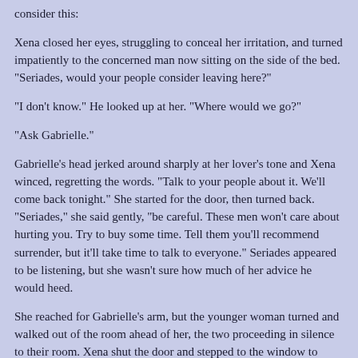consider this:
Xena closed her eyes, struggling to conceal her irritation, and turned impatiently to the concerned man now sitting on the side of the bed. "Seriades, would your people consider leaving here?"
"I don't know." He looked up at her. "Where would we go?"
"Ask Gabrielle."
Gabrielle's head jerked around sharply at her lover's tone and Xena winced, regretting the words. "Talk to your people about it. We'll come back tonight." She started for the door, then turned back. "Seriades," she said gently, "be careful. These men won't care about hurting you. Try to buy some time. Tell them you'll recommend surrender, but it'll take time to talk to everyone." Seriades appeared to be listening, but she wasn't sure how much of her advice he would heed.
She reached for Gabrielle's arm, but the younger woman turned and walked out of the room ahead of her, the two proceeding in silence to their room. Xena shut the door and stepped to the window to check the progress of Treman's takeover. "Let's get packed up. They'll be looking for us."
This it...